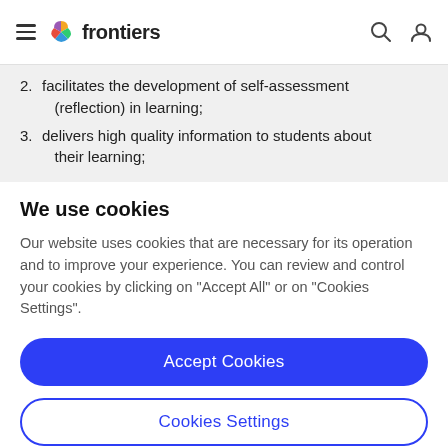frontiers
2. facilitates the development of self-assessment (reflection) in learning;
3. delivers high quality information to students about their learning;
We use cookies
Our website uses cookies that are necessary for its operation and to improve your experience. You can review and control your cookies by clicking on "Accept All" or on "Cookies Settings".
Accept Cookies
Cookies Settings